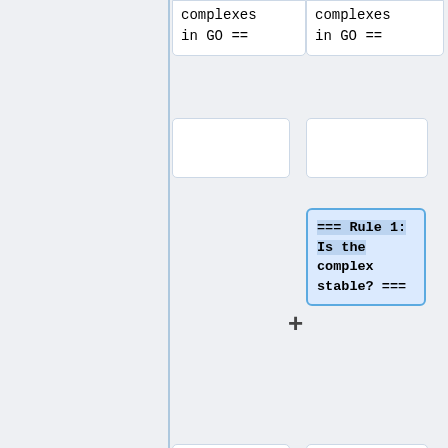[Figure (screenshot): Flowchart/wiki-style page showing annotation rule cards in a two-column layout. Top cropped cards show 'complexes in GO ==' text. Middle section shows a blue highlighted card '=== Rule 1: Is the complex stable? ===' with a plus sign. Bottom section shows a yellow card with '=== Rule 1: Is the complex stable? ===' and a blue card defining 'protein complex' in GO as 'A stable macromolecular complex composed (only) of two or more polypeptide'.]